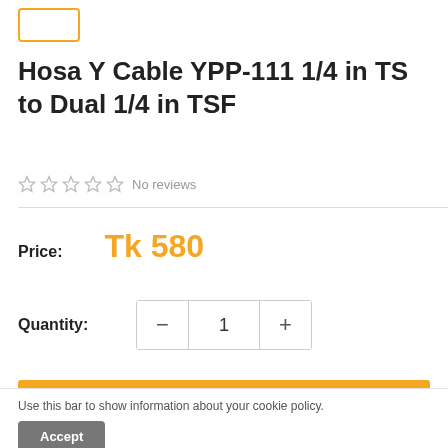[Figure (logo): Orange bordered rectangle logo placeholder in top left]
Hosa Y Cable YPP-111 1/4 in TS to Dual 1/4 in TSF
★★★★★ No reviews
Price: Tk 580
Quantity: − 1 +
Add to cart
Use this bar to show information about your cookie policy.
Accept